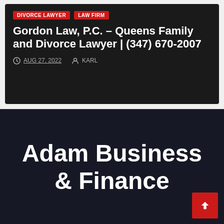DIVORCE LAWYER   LAW FIRM
Gordon Law, P.C. – Queens Family and Divorce Lawyer | (347) 670-2007
AUG 27, 2022   KARL
Adam Business & Finance